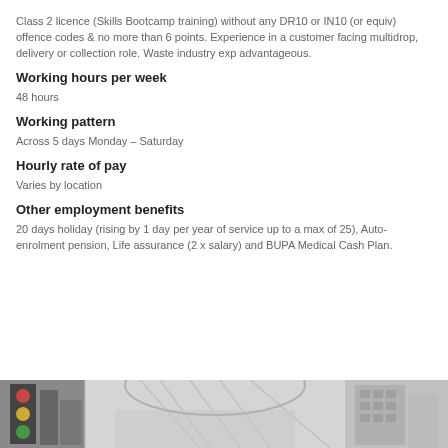Class 2 licence (Skills Bootcamp training) without any DR10 or IN10 (or equiv) offence codes & no more than 6 points. Experience in a customer facing multidrop, delivery or collection role. Waste industry exp advantageous.
Working hours per week
48 hours
Working pattern
Across 5 days Monday – Saturday
Hourly rate of pay
Varies by location
Other employment benefits
20 days holiday (rising by 1 day per year of service up to a max of 25), Auto-enrolment pension, Life assurance (2 x salary) and BUPA Medical Cash Plan.
[Figure (photo): A composite photograph strip showing building/infrastructure images including a traffic light on the left, a large modern building structure in the center, and another building on the right.]